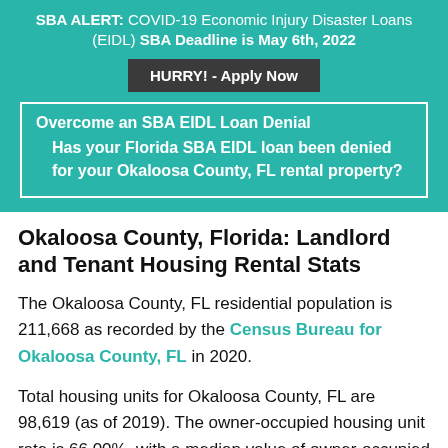SBA ALERT: COVID-19 Economic Injury Disaster Loans (EIDL) SBA Deadline is May 6th, 2022
HURRY! - Apply Now
Overcome an SBA EIDL Loan Denial Has your Florida SBA EIDL loan been denied for your Okaloosa County, FL rental property?
Okaloosa County, Florida: Landlord and Tenant Housing Rental Stats
The Okaloosa County, FL residential population is 211,668 as recorded by the Census Bureau for Okaloosa County, FL in 2020.
Total housing units for Okaloosa County, FL are 98,619 (as of 2019). The owner-occupied housing unit rate is 66.00%, with a median value of owner-occupied